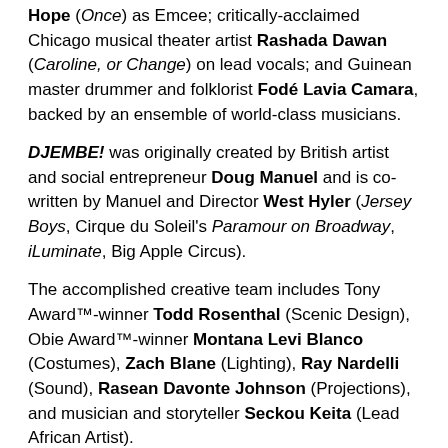Hope (Once) as Emcee; critically-acclaimed Chicago musical theater artist Rashada Dawan (Caroline, or Change) on lead vocals; and Guinean master drummer and folklorist Fodé Lavia Camara, backed by an ensemble of world-class musicians.
DJEMBE! was originally created by British artist and social entrepreneur Doug Manuel and is co-written by Manuel and Director West Hyler (Jersey Boys, Cirque du Soleil's Paramour on Broadway, iLuminate, Big Apple Circus).
The accomplished creative team includes Tony Award™-winner Todd Rosenthal (Scenic Design), Obie Award™-winner Montana Levi Blanco (Costumes), Zach Blane (Lighting), Ray Nardelli (Sound), Rasean Davonte Johnson (Projections), and musician and storyteller Seckou Keita (Lead African Artist).